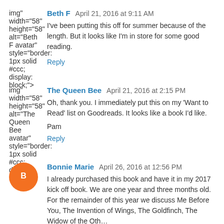Beth F  April 21, 2016 at 9:11 AM
I've been putting this off for summer because of the length. But it looks like I'm in store for some good reading.
Reply
The Queen Bee  April 21, 2016 at 2:15 PM
Oh, thank you. I immediately put this on my 'Want to Read' list on Goodreads. It looks like a book I'd like.
Pam
Reply
Bonnie Marie  April 26, 2016 at 12:56 PM
I already purchased this book and have it in my 2017 kick off book. We are one year and three months old. For the remainder of this year we discuss Me Before You, The Invention of Wings, The Goldfinch, The Widow of the…